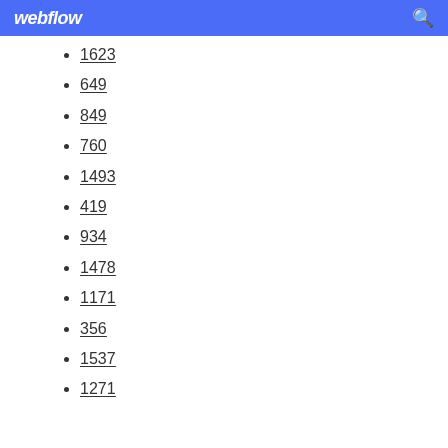webflow
1623
649
849
760
1493
419
934
1478
1171
356
1537
1271